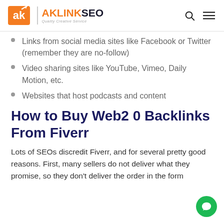AKLINKSEO Quality Creative Service
Links from social media sites like Facebook or Twitter (remember they are no-follow)
Video sharing sites like YouTube, Vimeo, Daily Motion, etc.
Websites that host podcasts and content
How to Buy Web2 0 Backlinks From Fiverr
Lots of SEOs discredit Fiverr, and for several pretty good reasons. First, many sellers do not deliver what they promise, so they don't deliver the order in the form